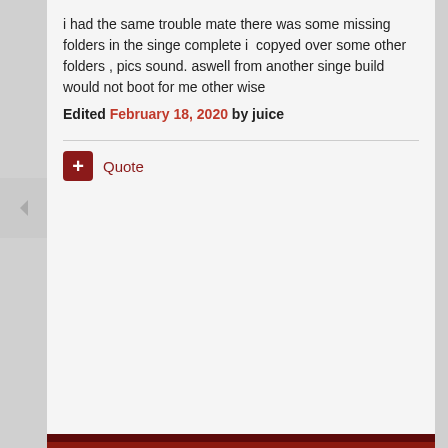i had the same trouble mate there was some missing folders in the singe complete i  copyed over some other folders , pics sound. aswell from another singe build would not boot for me other wise
Edited February 18, 2020 by juice
Quote
famawizard  +77  Posted February 18, 2020
Ok, I am uploading the corrected completed folder, wait some minutes and look at first  post :-)
Quote